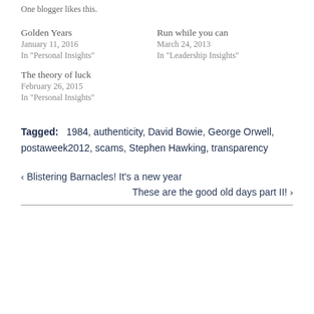One blogger likes this.
Golden Years
January 11, 2016
In "Personal Insights"
Run while you can
March 24, 2013
In "Leadership Insights"
The theory of luck
February 26, 2015
In "Personal Insights"
Tagged: 1984, authenticity, David Bowie, George Orwell, postaweek2012, scams, Stephen Hawking, transparency
< Blistering Barnacles! It’s a new year
These are the good old days part II! >